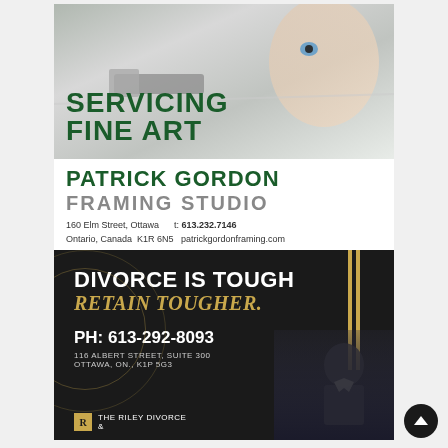[Figure (photo): Person examining or cutting something with a tool, close-up, with overlay text 'SERVICING FINE ART']
PATRICK GORDON
FRAMING STUDIO
160 Elm Street, Ottawa    t: 613.232.7146
Ontario, Canada  K1R 6N5  patrickgordonframing.com
We also host Art related events
[Figure (infographic): Dark advertisement for The Riley Divorce law firm with text: DIVORCE IS TOUGH / RETAIN TOUGHER. / PH: 613-292-8093 / 116 Albert Street, Suite 300 Ottawa, ON., K1P 5G3 / THE RILEY DIVORCE &]
DIVORCE IS TOUGH
RETAIN TOUGHER.
PH: 613-292-8093
116 ALBERT STREET, SUITE 300
OTTAWA, ON., K1P 5G3
THE RILEY DIVORCE
&